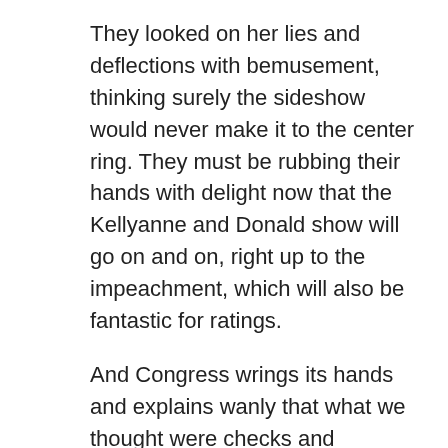They looked on her lies and deflections with bemusement, thinking surely the sideshow would never make it to the center ring. They must be rubbing their hands with delight now that the Kellyanne and Donald show will go on and on, right up to the impeachment, which will also be fantastic for ratings.
And Congress wrings its hands and explains wanly that what we thought were checks and balances are actually gentleman's agreements: it turns out tax returns, blind trusts and anti-nepotism rules are not codified, really, just suggested.  Who knew? And Mitch McConnell has proven that even the rules that are codified in the Constitution, like